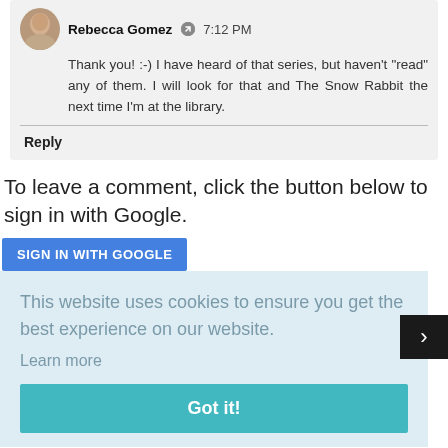Rebecca Gomez  7:12 PM
Thank you! :-) I have heard of that series, but haven't "read" any of them. I will look for that and The Snow Rabbit the next time I'm at the library.
Reply
To leave a comment, click the button below to sign in with Google.
SIGN IN WITH GOOGLE
This website uses cookies to ensure you get the best experience on our website.
Learn more
Got it!